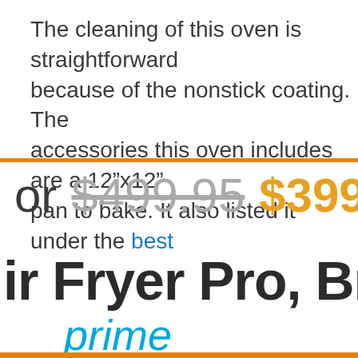The cleaning of this oven is straightforward because of the nonstick coating. The accessories this oven includes are a 12”x12” pan to bake. It also listed it under the best
or $499.95 $399.9
ir Fryer Pro, Brus
prime